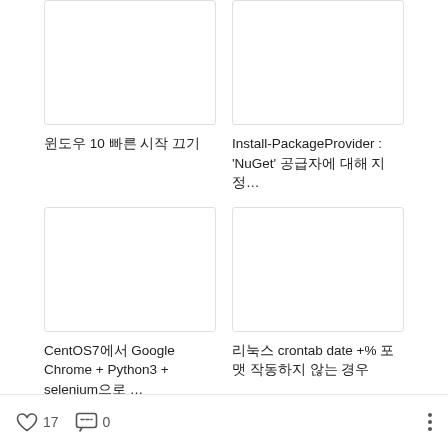[Figure (other): Blank thumbnail image placeholder for article]
[Figure (other): Blank thumbnail image placeholder for article]
윈도우 10 빠른 시작 끄기
Install-PackageProvider : 'NuGet' 공급자에 대해 지정…
[Figure (other): Blank thumbnail image placeholder for article]
[Figure (other): Blank thumbnail image placeholder for article]
CentOS7에서 Google Chrome + Python3 + selenium으로 …
리눅스 crontab date +% 포맷 작동하지 않는 경우
17  0